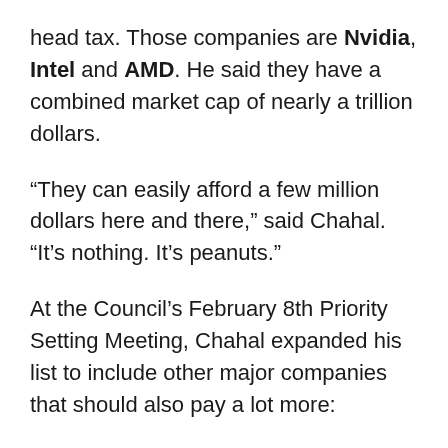head tax. Those companies are Nvidia, Intel and AMD. He said they have a combined market cap of nearly a trillion dollars.
“They can easily afford a few million dollars here and there,” said Chahal. “It’s nothing. It’s peanuts.”
At the Council’s February 8th Priority Setting Meeting, Chahal expanded his list to include other major companies that should also pay a lot more:
Agilent
Arista Networks